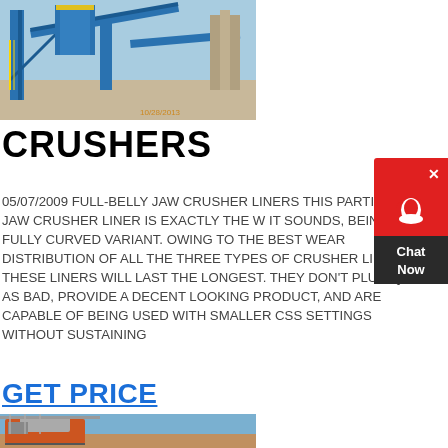[Figure (photo): Industrial crushing/screening plant with blue metal framework and conveyor belts on a construction site, dated 10/28/2013]
CRUSHERS
05/07/2009 FULL-BELLY JAW CRUSHER LINERS THIS PARTICULAR JAW CRUSHER LINER IS EXACTLY THE WAY IT SOUNDS, BEING A FULLY CURVED VARIANT. OWING TO THE BEST WEAR DISTRIBUTION OF ALL THE THREE TYPES OF CRUSHER LINERS, THESE LINERS WILL LAST THE LONGEST. THEY DON'T PLUG QUITE AS BAD, PROVIDE A DECENT LOOKING PRODUCT, AND ARE CAPABLE OF BEING USED WITH SMALLER CSS SETTINGS WITHOUT SUSTAINING
GET PRICE
[Figure (photo): Industrial jaw crusher machinery with red and grey metal structures against a blue sky background]